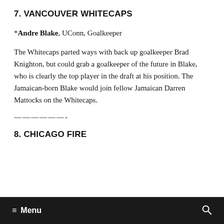7. VANCOUVER WHITECAPS
*Andre Blake, UConn, Goalkeeper
The Whitecaps parted ways with back up goalkeeper Brad Knighton, but could grab a goalkeeper of the future in Blake, who is clearly the top player in the draft at his position. The Jamaican-born Blake would join fellow Jamaican Darren Mattocks on the Whitecaps.
——————-
8. CHICAGO FIRE
≡ Menu    🔍